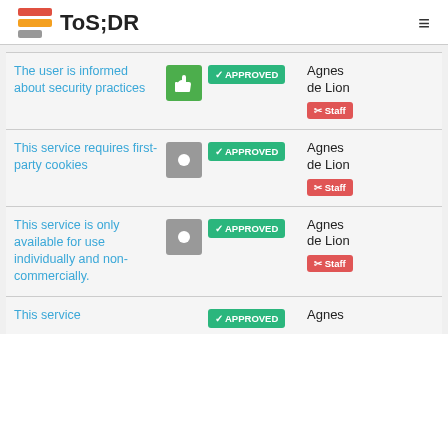ToS;DR
The user is informed about security practices | APPROVED | Agnes de Lion | Staff
This service requires first-party cookies | APPROVED | Agnes de Lion | Staff
This service is only available for use individually and non-commercially. | APPROVED | Agnes de Lion | Staff
This service | APPROVED | Agnes